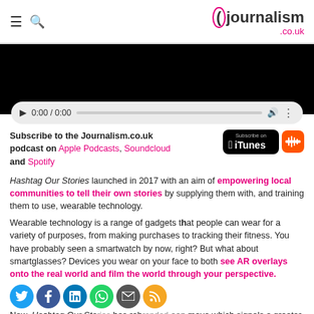journalism.co.uk
[Figure (screenshot): Black video player area with audio controls showing 0:00 / 0:00 timestamp and progress bar]
Subscribe to the Journalism.co.uk podcast on Apple Podcasts, Soundcloud and Spotify
Hashtag Our Stories launched in 2017 with an aim of empowering local communities to tell their own stories by supplying them with, and training them to use, wearable technology.
Wearable technology is a range of gadgets that people can wear for a variety of purposes, from making purchases to tracking their fitness. You have probably seen a smartwatch by now, right? But what about smartglasses? Devices you wear on your face to both see AR overlays onto the real world and film the world through your perspective.
[Figure (infographic): Row of social media share icons: Twitter, Facebook, LinkedIn, WhatsApp, Email, RSS]
Now, Hashtag Our Stories has rebranded been move which signals a greater emphasis on augmented reality content as three